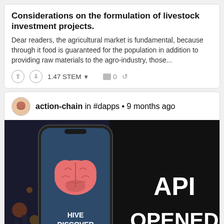Considerations on the formulation of livestock investment projects.
Dear readers, the agricultural market is fundamental, because through it food is guaranteed for the population in addition to providing raw materials to the agro-industry, those...
1.47 STEM  0
action-chain in #dapps • 9 months ago
[Figure (screenshot): Promotional image for Hive Discover app showing a smartphone with a brain icon and the text 'HIVE DISCOVER', alongside text 'API OPENED' on a dark background. A Discord button is visible in the bottom right corner.]